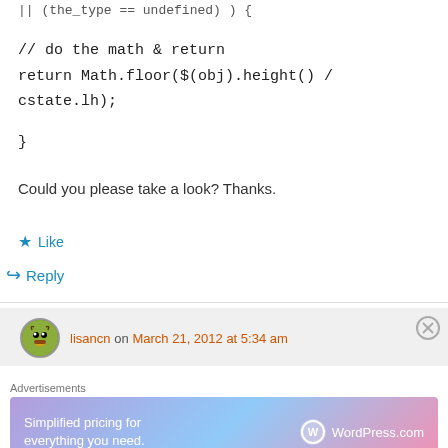|| (the_type == undefined) ) {
// do the math & return
return Math.floor($(obj).height() / cstate.lh);
}
Could you please take a look? Thanks.
★ Like
↪ Reply
lisancn on March 21, 2012 at 5:34 am
Advertisements
Simplified pricing for everything you need. WordPress.com